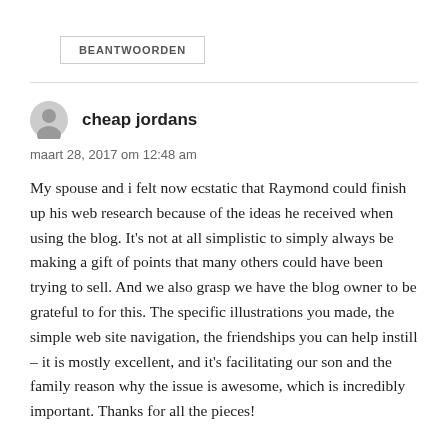BEANTWOORDEN
cheap jordans
maart 28, 2017 om 12:48 am
My spouse and i felt now ecstatic that Raymond could finish up his web research because of the ideas he received when using the blog. It’s not at all simplistic to simply always be making a gift of points that many others could have been trying to sell. And we also grasp we have the blog owner to be grateful to for this. The specific illustrations you made, the simple web site navigation, the friendships you can help instill – it is mostly excellent, and it’s facilitating our son and the family reason why the issue is awesome, which is incredibly important. Thanks for all the pieces!